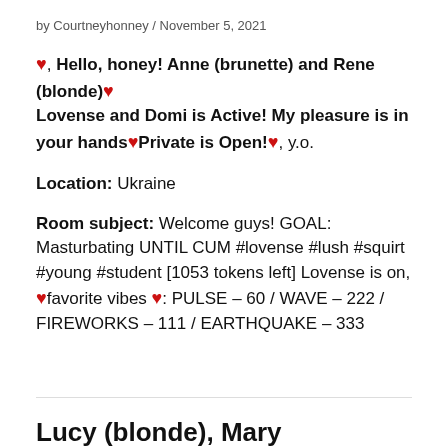by Courtneyhonney / November 5, 2021
♥, Hello, honey! Anne (brunette) and Rene (blonde)♥ Lovense and Domi is Active! My pleasure is in your hands♥Private is Open!♥, y.o.
Location: Ukraine
Room subject: Welcome guys! GOAL: Masturbating UNTIL CUM #lovense #lush #squirt #young #student [1053 tokens left] Lovense is on, ♥favorite vibes ♥: PULSE – 60 / WAVE – 222 / FIREWORKS – 111 / EARTHQUAKE – 333
Lucy (blonde), Mary (brunette), Jenny (the